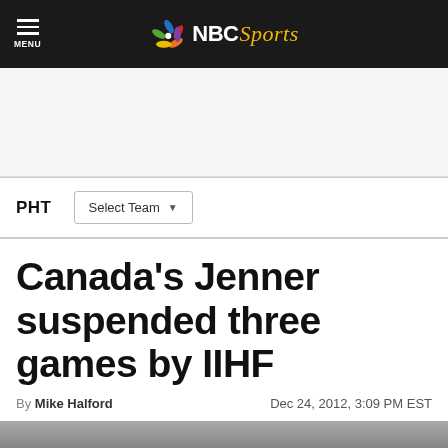NBC Sports
PHT  Select Team
Canada's Jenner suspended three games by IIHF
By Mike Halford  Dec 24, 2012, 3:09 PM EST
[Figure (photo): Photo of hockey player at bottom of article]